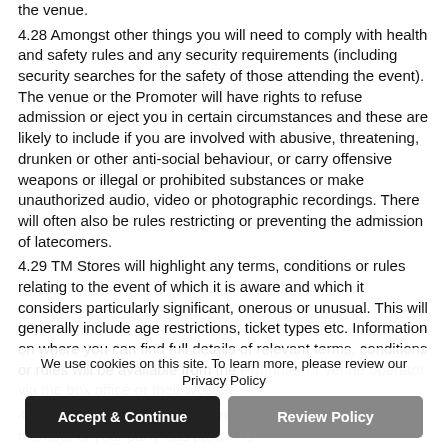the venue.
4.28 Amongst other things you will need to comply with health and safety rules and any security requirements (including security searches for the safety of those attending the event). The venue or the Promoter will have rights to refuse admission or eject you in certain circumstances and these are likely to include if you are involved with abusive, threatening, drunken or other anti-social behaviour, or carry offensive weapons or illegal or prohibited substances or make unauthorized audio, video or photographic recordings. There will often also be rules restricting or preventing the admission of latecomers.
4.29 TM Stores will highlight any terms, conditions or rules relating to the event of which it is aware and which it considers particularly significant, onerous or unusual. This will generally include age restrictions, ticket types etc. Information on where you can find full details of relevant terms, conditions or rules will be available from the Promoter or venue operator via the box office or their website.
4.30 Before confirming your booking you should read all the information about the event you are booking and contact u or any member of your party has parti ts
We use cookies on this site. To learn more, please review our Privacy Policy
Accept & Continue
Review Policy